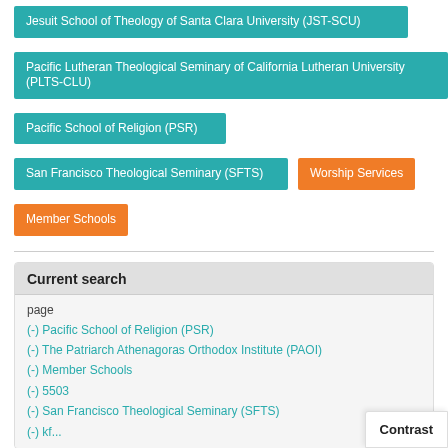Jesuit School of Theology of Santa Clara University (JST-SCU)
Pacific Lutheran Theological Seminary of California Lutheran University (PLTS-CLU)
Pacific School of Religion (PSR)
San Francisco Theological Seminary (SFTS)
Worship Services
Member Schools
Current search
page
(-) Pacific School of Religion (PSR)
(-) The Patriarch Athenagoras Orthodox Institute (PAOI)
(-) Member Schools
(-) 5503
(-) San Francisco Theological Seminary (SFTS)
Contrast